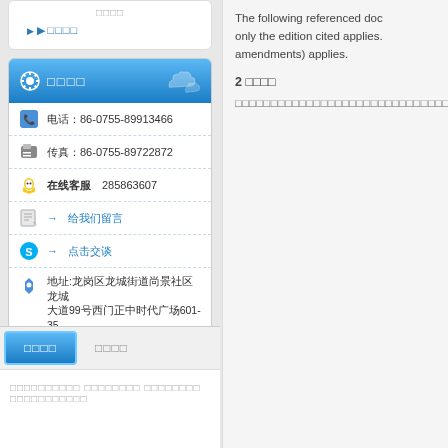▶ □□□□
□□□□
电话：86-0755-89913466
传真：86-0755-89722872
在线客服  285863607
→ 给我们留言
→ 点击交谈
地址:龙岗区龙城街道尚景社区龙城大道99号西门正中时代广场601-35
The following referenced doc only the edition cited applies. amendments) applies.
2 □□□□
□□□□□□□□□□□□□□□□□□□□□□□□□□□□□□□□□□□□□□□□
□□□□
□□□□
□□□□□□□□□□ □□□□□□□□ □□□□□□□□ □□□□□□□□□□□